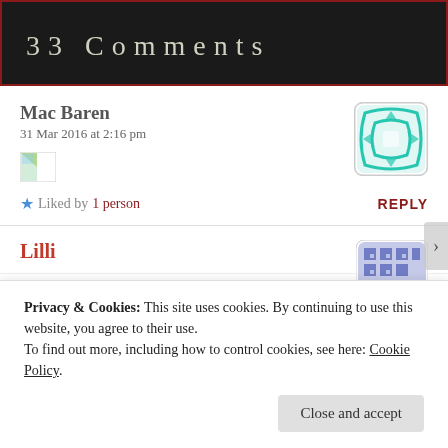33 Comments
Mac Baren
31 Mar 2016 at 2:16 pm
[Figure (illustration): Small image placeholder (broken image icon)]
Liked by 1 person  REPLY
Lilli
Privacy & Cookies: This site uses cookies. By continuing to use this website, you agree to their use. To find out more, including how to control cookies, see here: Cookie Policy.